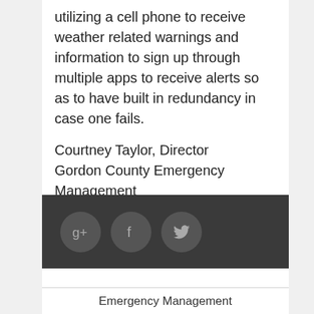utilizing a cell phone to receive weather related warnings and information to sign up through multiple apps to receive alerts so as to have built in redundancy in case one fails.
Courtney Taylor, Director Gordon County Emergency Management
[Figure (other): Social media icons: Google+, Facebook, Twitter on dark background bar]
Emergency Management